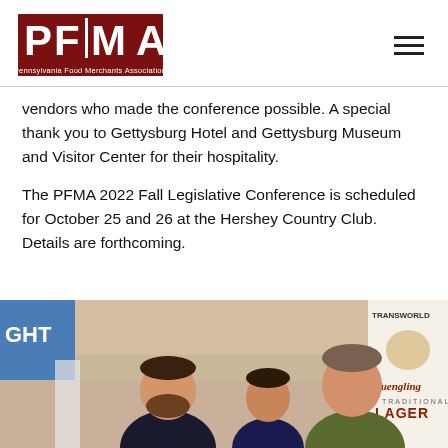PFMA — Pennsylvania Food Merchants Association
vendors who made the conference possible. A special thank you to Gettysburg Hotel and Gettysburg Museum and Visitor Center for their hospitality.
The PFMA 2022 Fall Legislative Conference is scheduled for October 25 and 26 at the Hershey Country Club. Details are forthcoming.
[Figure (photo): Three men standing together at a conference event, with a Yuengling Traditional Lager banner and a Transworld banner visible in the background.]